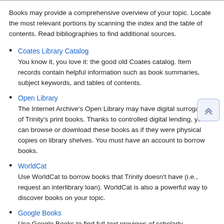Books may provide a comprehensive overview of your topic. Locate the most relevant portions by scanning the index and the table of contents. Read bibliographies to find additional sources.
Coates Library Catalog
You know it, you love it: the good old Coates catalog. Item records contain helpful information such as book summaries, subject keywords, and tables of contents.
Open Library
The Internet Archive's Open Library may have digital surrogates of Trinity's print books. Thanks to controlled digital lending, you can browse or download these books as if they were physical copies on library shelves. You must have an account to borrow books.
WorldCat
Use WorldCat to borrow books that Trinity doesn't have (i.e., request an interlibrary loan). WorldCat is also a powerful way to discover books on your topic.
Google Books
Use Google Books to find full-text previews of scholarly monographs. You can assess a book's relevance by reading your keywords in